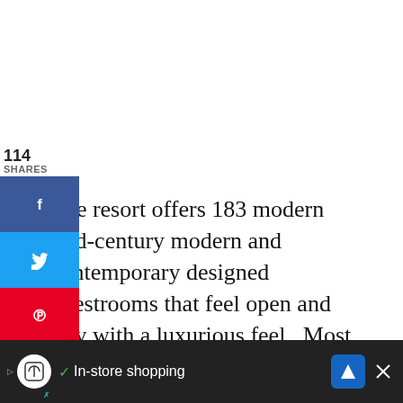114
SHARES
The resort offers 183 modern mid-century modern and contemporary designed guestrooms that feel open and airy with a luxurious feel.  Most of the rooms feature floor-to-ceiling glass for natural light as well as private patios or balconies for taking in the stunning desert scenery.  We were able to stay in a guestroom with a patio overlooking the golf course with mountain
115
WHAT'S NEXT → Things to do in Scottsdal...
✓ In-store shopping